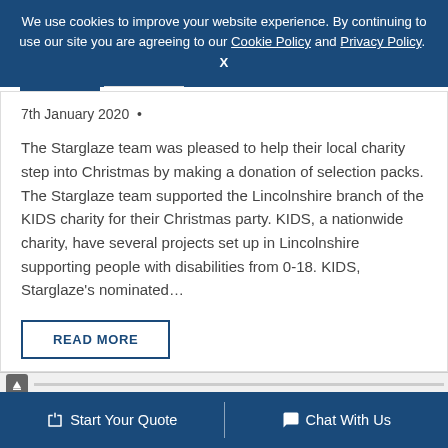We use cookies to improve your website experience. By continuing to use our site you are agreeing to our Cookie Policy and Privacy Policy.  X
7th January 2020  •
The Starglaze team was pleased to help their local charity step into Christmas by making a donation of selection packs. The Starglaze team supported the Lincolnshire branch of the KIDS charity for their Christmas party. KIDS, a nationwide charity, have several projects set up in Lincolnshire supporting people with disabilities from 0-18. KIDS, Starglaze's nominated…
READ MORE
Start Your Quote   Chat With Us